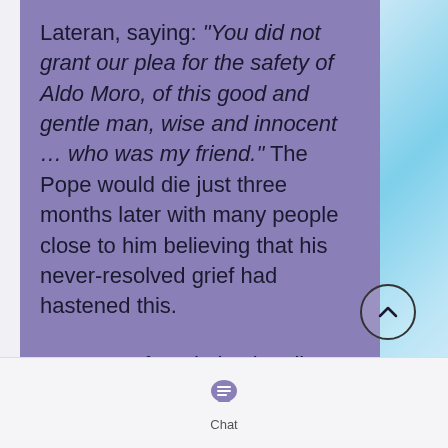Lateran, saying: “You did not grant our plea for the safety of Aldo Moro, of this good and gentle man, wise and innocent … who was my friend.”  The Pope would die just three months later with many people close to him believing that his never-resolved grief had hastened this.
In 2012, a foundation in Milan dedicated to Moro’s memory announced a request to open a beatification cause. Even this would not prove straightforward, with a couple of postulators, the official in charge of preparing all the materials
[Figure (other): A circular scroll-up button with an upward-pointing chevron arrow]
[Figure (other): Chat icon (speech bubble with horizontal lines) above the label 'Chat']